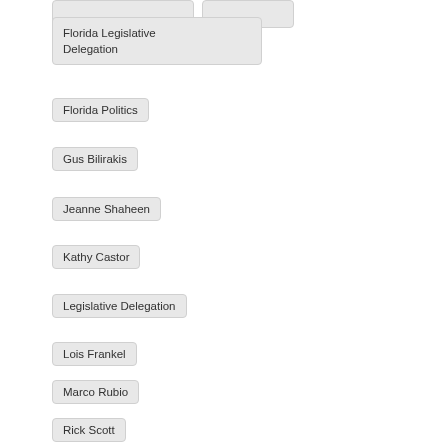Florida Legislative Delegation
Florida Politics
Gus Bilirakis
Jeanne Shaheen
Kathy Castor
Legislative Delegation
Lois Frankel
Marco Rubio
Rick Scott
Ron DeSantis